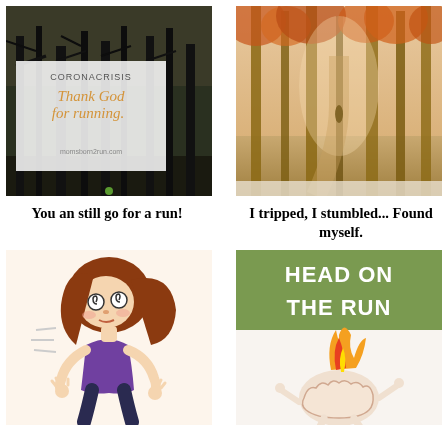[Figure (illustration): Dark forest background with text overlay reading 'CORONACRISIS Thank God for running.' in stylized font, with website URL momsborn2run.com]
[Figure (photo): Autumn forest path with orange foliage and misty light, showing a runner in the distance]
You an still go for a run!
I tripped, I stumbled... Found myself.
[Figure (illustration): Cartoon illustration of a dizzy girl with swirly eyes and brown hair wearing purple top and dark pants, stumbling]
[Figure (illustration): Graphic showing 'HEAD ON THE RUN' text on green background with cartoon brain on fire with flames and arms/legs running]